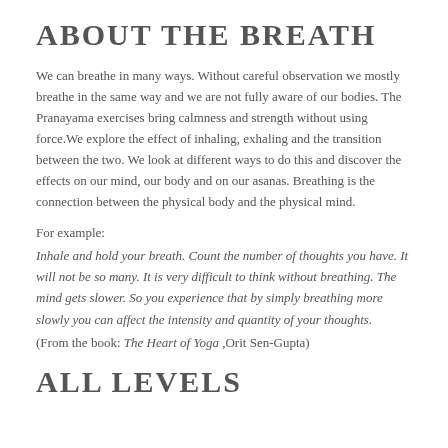ABOUT THE BREATH
We can breathe in many ways. Without careful observation we mostly breathe in the same way and we are not fully aware of our bodies. The Pranayama exercises bring calmness and strength without using force.We explore the effect of inhaling, exhaling and the transition between the two. We look at different ways to do this and discover the effects on our mind, our body and on our asanas. Breathing is the connection between the physical body and the physical mind.
For example:
Inhale and hold your breath. Count the number of thoughts you have. It will not be so many. It is very difficult to think without breathing. The mind gets slower. So you experience that by simply breathing more slowly you can affect the intensity and quantity of your thoughts.
(From the book: The Heart of Yoga ,Orit Sen-Gupta)
ALL LEVELS